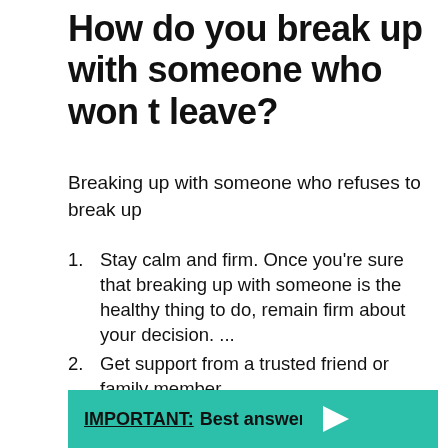How do you break up with someone who won t leave?
Breaking up with someone who refuses to break up
Stay calm and firm. Once you're sure that breaking up with someone is the healthy thing to do, remain firm about your decision. ...
Get support from a trusted friend or family member. ...
Get support from an adult/authority figure/Support group. ...
Cut ties.
IMPORTANT:  Best answer: